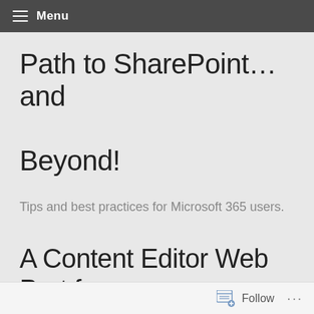Menu
Path to SharePoint… and Beyond!
Tips and best practices for Microsoft 365 users.
A Content Editor Web Part for every home!
Follow ...